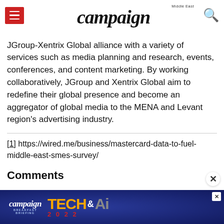campaign Middle East
JGroup-Xentrix Global alliance with a variety of services such as media planning and research, events, conferences, and content marketing. By working collaboratively, JGroup and Xentrix Global aim to redefine their global presence and become an aggregator of global media to the MENA and Levant region's advertising industry.
[1] https://wired.me/business/mastercard-data-to-fuel-middle-east-smes-survey/
Comments
[Figure (screenshot): Campaign Tech & AI Breakfast Briefing 2022 advertisement banner with dark blue background, campaign logo, and orange/grey TECH & AI text]